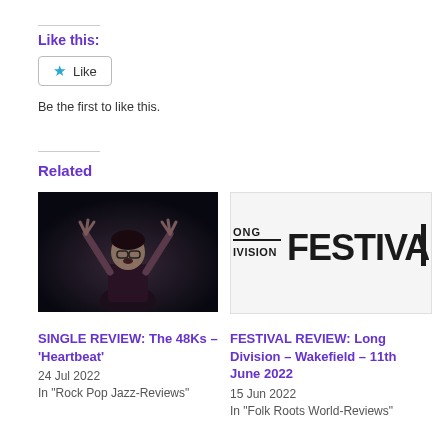Like this:
Like
Be the first to like this.
Related
[Figure (photo): Black and white photo of a performer with hands raised, wearing glasses, performing on stage in dark setting]
SINGLE REVIEW: The 48Ks – 'Heartbeat'
24 Jul 2022
In "Rock Pop Jazz-Reviews"
[Figure (logo): Long Division Festival logo — text reads ONG IVISION FESTIVAL in bold black letters]
FESTIVAL REVIEW: Long Division – Wakefield – 11th June 2022
15 Jun 2022
In "Folk Roots World-Reviews"